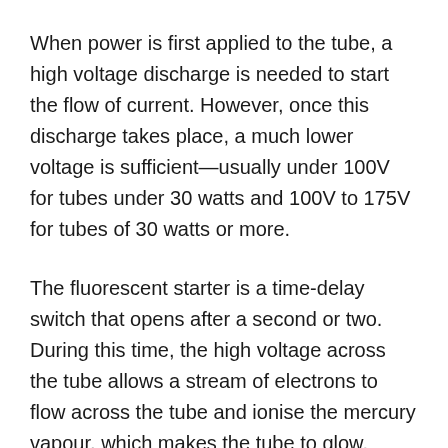When power is first applied to the tube, a high voltage discharge is needed to start the flow of current. However, once this discharge takes place, a much lower voltage is sufficient—usually under 100V for tubes under 30 watts and 100V to 175V for tubes of 30 watts or more.
The fluorescent starter is a time-delay switch that opens after a second or two. During this time, the high voltage across the tube allows a stream of electrons to flow across the tube and ionise the mercury vapour, which makes the tube to glow. Some modern fluorescent tubes do not require a starter because they come with a ballast that has extra windings and energy to initiate the light.